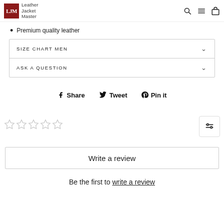Leather Jacket Master
Premium quality leather
SIZE CHART MEN
ASK A QUESTION
Share  Tweet  Pin it
[Figure (other): Five empty star rating icons]
[Figure (other): Filter/sort icon button]
Write a review
Be the first to write a review